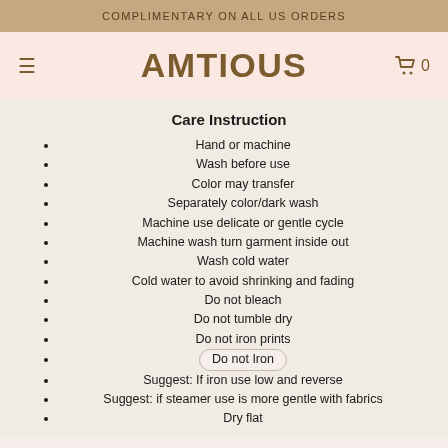COMPLIMENTARY ON ALL US ORDERS
AMTIOUS
Care Instruction
Hand or machine
Wash before use
Color may transfer
Separately color/dark wash
Machine use delicate or gentle cycle
Machine wash turn garment inside out
Wash cold water
Cold water to avoid shrinking and fading
Do not bleach
Do not tumble dry
Do not iron prints
Do not Iron
Suggest: If iron use low and reverse
Suggest: if steamer use is more gentle with fabrics
Dry flat